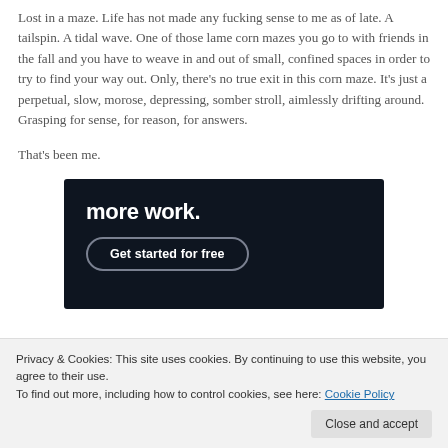Lost in a maze. Life has not made any fucking sense to me as of late. A tailspin. A tidal wave. One of those lame corn mazes you go to with friends in the fall and you have to weave in and out of small, confined spaces in order to try to find your way out. Only, there's no true exit in this corn maze. It's just a perpetual, slow, morose, depressing, somber stroll, aimlessly drifting around. Grasping for sense, for reason, for answers.
That's been me.
[Figure (screenshot): Dark advertisement banner with white text 'more work.' and a rounded button labeled 'Get started for free']
Privacy & Cookies: This site uses cookies. By continuing to use this website, you agree to their use.
To find out more, including how to control cookies, see here: Cookie Policy
Close and accept